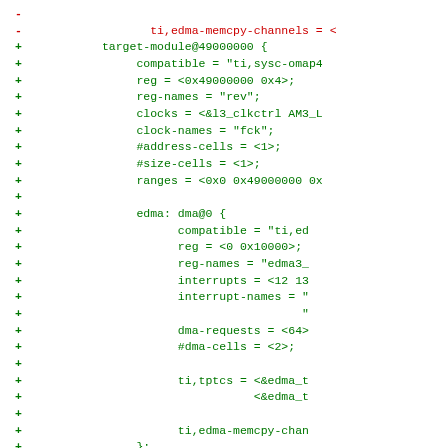diff code block showing git diff of device tree source file with additions and removals of edma/dma node configuration
[Figure (screenshot): Code diff showing removal of ti,edma-memcpy-channels line and addition of target-module@49000000 block with compatible, reg, reg-names, clocks, clock-names, address-cells, size-cells, ranges, and nested edma: dma@0 block containing compatible, reg, reg-names, interrupts, interrupt-names, dma-requests, #dma-cells, ti,tptcs, ti,edma-memcpy-channels properties, followed by closing braces and a new minus line for edma tptc0: tptc@49800000]